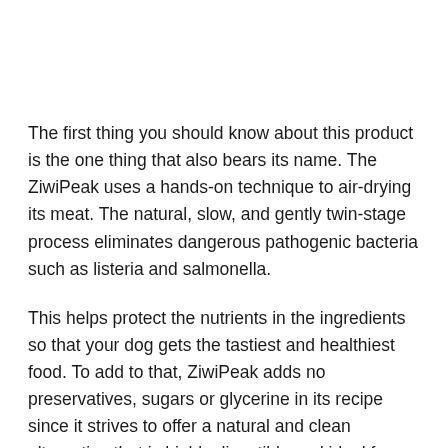The first thing you should know about this product is the one thing that also bears its name. The ZiwiPeak uses a hands-on technique to air-drying its meat. The natural, slow, and gently twin-stage process eliminates dangerous pathogenic bacteria such as listeria and salmonella.
This helps protect the nutrients in the ingredients so that your dog gets the tastiest and healthiest food. To add to that, ZiwiPeak adds no preservatives, sugars or glycerine in its recipe since it strives to offer a natural and clean alternative that is highly digestible and ideal for completely raw diets.